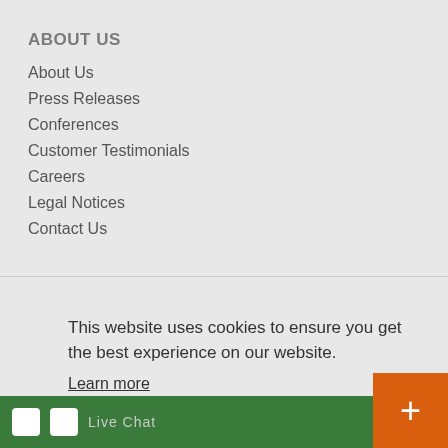ABOUT US
About Us
Press Releases
Conferences
Customer Testimonials
Careers
Legal Notices
Contact Us
This website uses cookies to ensure you get the best experience on our website.
Learn more
Got it!